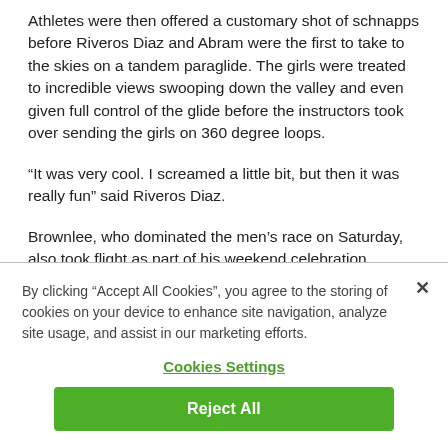Athletes were then offered a customary shot of schnapps before Riveros Diaz and Abram were the first to take to the skies on a tandem paraglide. The girls were treated to incredible views swooping down the valley and even given full control of the glide before the instructors took over sending the girls on 360 degree loops.
“It was very cool. I screamed a little bit, but then it was really fun” said Riveros Diaz.
Brownlee, who dominated the men’s race on Saturday, also took flight as part of his weekend celebration.  Nerves were not an issue for Brownlee, standing atop the steep slopes just before
By clicking “Accept All Cookies”, you agree to the storing of cookies on your device to enhance site navigation, analyze site usage, and assist in our marketing efforts.
Cookies Settings
Reject All